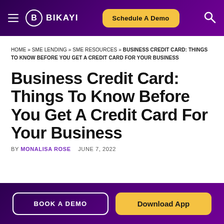BIKAYI | Schedule A Demo
HOME » SME LENDING » SME RESOURCES » BUSINESS CREDIT CARD: THINGS TO KNOW BEFORE YOU GET A CREDIT CARD FOR YOUR BUSINESS
Business Credit Card: Things To Know Before You Get A Credit Card For Your Business
BY MONALISA ROSE   JUNE 7, 2022
BOOK A DEMO   Download App